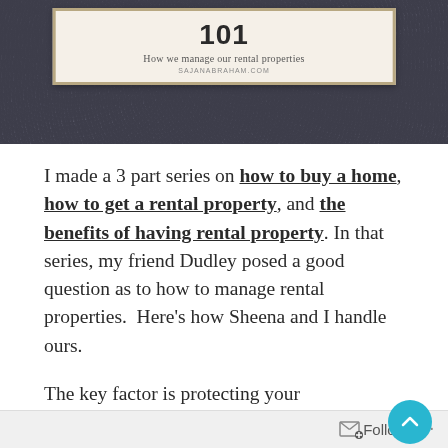[Figure (illustration): Decorative dark floral/damask patterned background with a cream/tan bordered label box in the center. The label box contains large bold text '101', subtitle 'How we manage our rental properties', and URL 'SAJANABRAHAM.COM'.]
I made a 3 part series on how to buy a home, how to get a rental property, and the benefits of having rental property. In that series, my friend Dudley posed a good question as to how to manage rental properties.  Here's how Sheena and I handle ours.
The key factor is protecting your